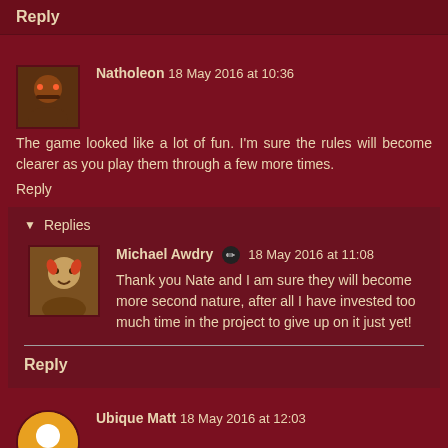Reply
[Figure (illustration): Avatar image for Natholeon commenter]
Natholeon 18 May 2016 at 10:36
The game looked like a lot of fun. I'm sure the rules will become clearer as you play them through a few more times.
Reply
▼ Replies
[Figure (photo): Avatar image for Michael Awdry commenter]
Michael Awdry ✏ 18 May 2016 at 11:08
Thank you Nate and I am sure they will become more second nature, after all I have invested too much time in the project to give up on it just yet!
Reply
[Figure (illustration): Orange circular avatar for Ubique Matt commenter]
Ubique Matt 18 May 2016 at 12:03